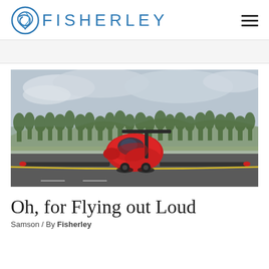FISHERLEY
[Figure (photo): A red flying car (Samson Sky Switchblade) with wings extended, parked or taxiing on an airport runway. Background shows trees and overcast sky.]
Oh, for Flying out Loud
Samson / By Fisherley